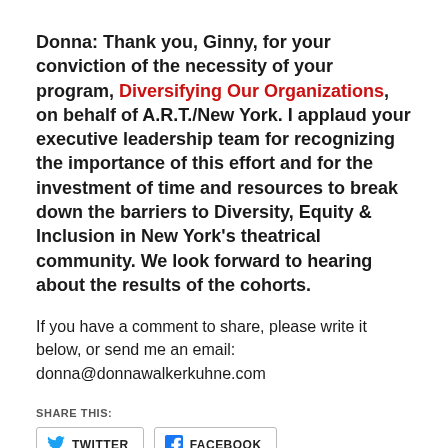Donna: Thank you, Ginny, for your conviction of the necessity of your program, Diversifying Our Organizations, on behalf of A.R.T./New York. I applaud your executive leadership team for recognizing the importance of this effort and for the investment of time and resources to break down the barriers to Diversity, Equity & Inclusion in New York's theatrical community. We look forward to hearing about the results of the cohorts.
If you have a comment to share, please write it below, or send me an email: donna@donnawalkerkuhne.com
SHARE THIS:
[Figure (other): Share buttons: TWITTER and FACEBOOK]
LIKE THIS: